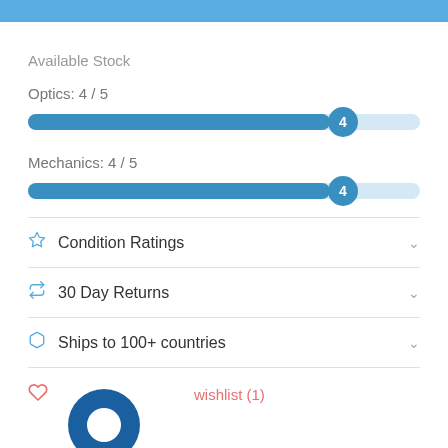[Figure (infographic): Blue horizontal progress bar for Optics rated 4 out of 5, with a blue circle marker showing '4']
Available Stock
Optics: 4 / 5
Mechanics: 4 / 5
Condition Ratings
30 Day Returns
Ships to 100+ countries
wishlist (1)